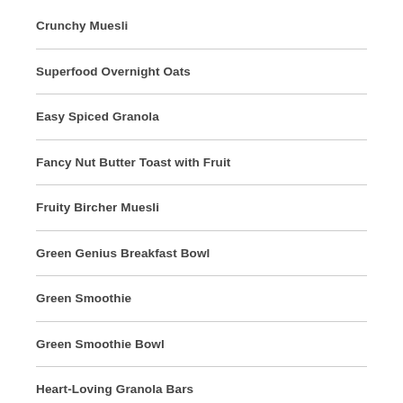Crunchy Muesli
Superfood Overnight Oats
Easy Spiced Granola
Fancy Nut Butter Toast with Fruit
Fruity Bircher Muesli
Green Genius Breakfast Bowl
Green Smoothie
Green Smoothie Bowl
Heart-Loving Granola Bars